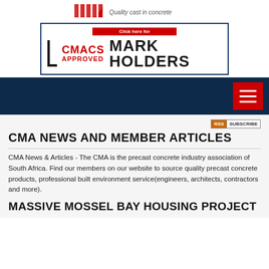[Figure (logo): Red diagonal stripes logo with text 'Quality cast in concrete']
[Figure (logo): CMACS Approved Mark Holders banner with red and dark blue branding, 'Click here for' red bar at top]
[Figure (screenshot): Dark navy navigation bar with red hamburger menu button on the right]
[Figure (logo): RSS SUBSCRIBE badge in orange and grey]
CMA NEWS AND MEMBER ARTICLES
CMA News & Articles - The CMA is the precast concrete industry association of South Africa. Find our members on our website to source quality precast concrete products, professional built environment service(engineers, architects, contractors and more).
MASSIVE MOSSEL BAY HOUSING PROJECT